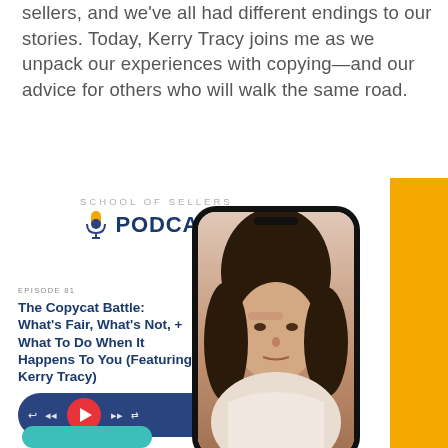sellers, and we've all had different endings to our stories. Today, Kerry Tracy joins me as we unpack our experiences with copying—and our advice for others who will walk the same road.
[Figure (other): School of Sellers Podcast card showing Episode 81: The Copycat Battle: What's Fair, What's Not, + What to Do When It Happens to You (Featuring Kerry Tracy), with a podcast player interface, a phone mockup showing a woman looking stressed, a yellow accent bar, and a 'Listen Now' call to action.]